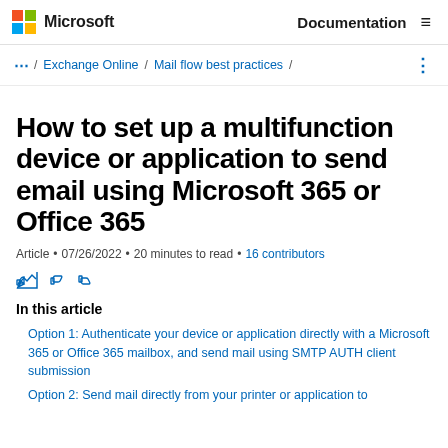Microsoft | Documentation
... / Exchange Online / Mail flow best practices /
How to set up a multifunction device or application to send email using Microsoft 365 or Office 365
Article • 07/26/2022 • 20 minutes to read • 16 contributors
In this article
Option 1: Authenticate your device or application directly with a Microsoft 365 or Office 365 mailbox, and send mail using SMTP AUTH client submission
Option 2: Send mail directly from your printer or application to